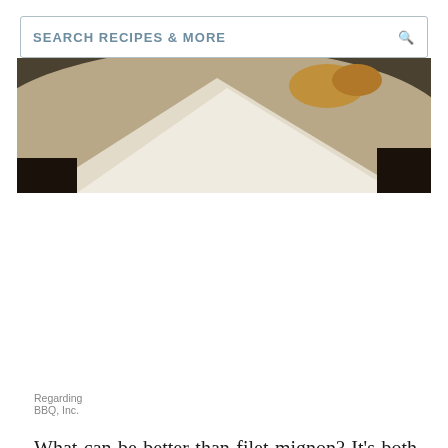SEARCH RECIPES & MORE
[Figure (photo): Photo of a white plate with food on a dark granite countertop surface, partially cropped]
Regarding BBQ, Inc.
What can be better than filet mignon? It's both delicious and tender. This recipe calls for dried herbs though you can substitute with fresh herbs instead. If you are going to do so, double the amount that the recipe requires.
Continue to 9 of 9 below.
Advertisement
[Figure (infographic): Dotdash Meredith advertisement banner: 'We help people find answers, solve problems and get inspired.' with Dotdash D logo and colorful Meredith dots logo]